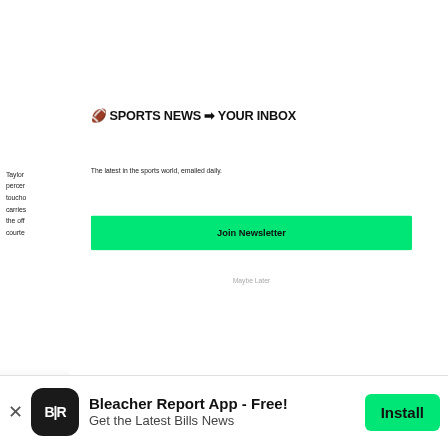🏈 SPORTS NEWS ➡ YOUR INBOX
The latest in the sports world, emailed daily.
Join Newsletter
Maybe Later
Taylor
percer
toucho
carries
the off
courte
[Figure (logo): Bleacher Report app icon — black rounded square with BR text in white]
Bleacher Report App - Free!
Get the Latest Bills News
Install